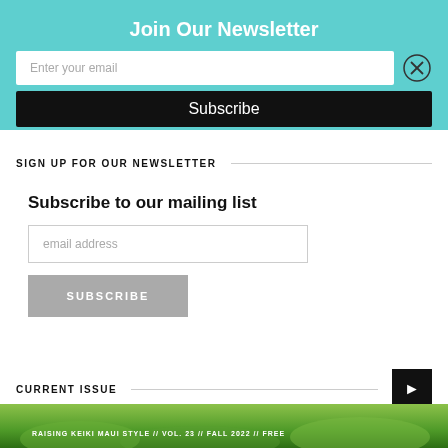Join Our Newsletter
Enter your email
Subscribe
SIGN UP FOR OUR NEWSLETTER
Subscribe to our mailing list
email address
SUBSCRIBE
CURRENT ISSUE
[Figure (photo): Magazine cover strip at bottom showing greenery/plants with text 'RAISING KEIKI MAUI STYLE // VOL. 23 // FALL 2022 // FREE']